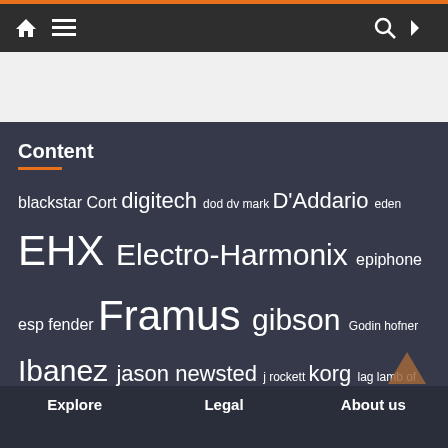Navigation bar with home, menu, search, and shuffle icons
[Figure (other): White banner/advertisement area]
Content
blackstar Cort digitech dod dv mark D'Addario eden EHX Electro-Harmonix epiphone esp fender Framus gibson Godin hofner Ibanez jason newsted j rockett korg lag lamb of god laney line 6 marshall mooer morley Orange Paul Gilbert peavey pigtronix prs radial roland schecter Seymour Duncan Tanglewood Taylor tc electronic tech 21 tosin abasi vintage vox Warwick zoom
Explore  Legal  About us